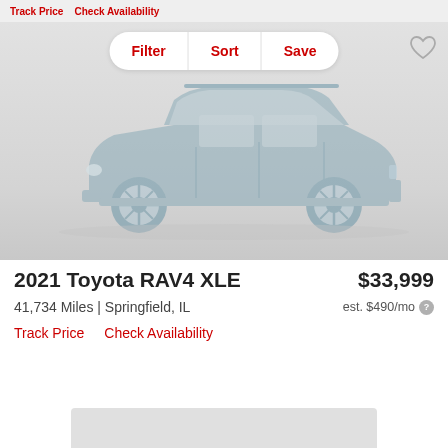Track Price   Check Availability
Filter | Sort | Save
[Figure (illustration): Side profile silhouette illustration of an SUV (Toyota RAV4-style) in muted blue-gray color on a gray gradient background, placeholder vehicle image]
2021 Toyota RAV4 XLE
$33,999
41,734 Miles | Springfield, IL
est. $490/mo
Track Price   Check Availability